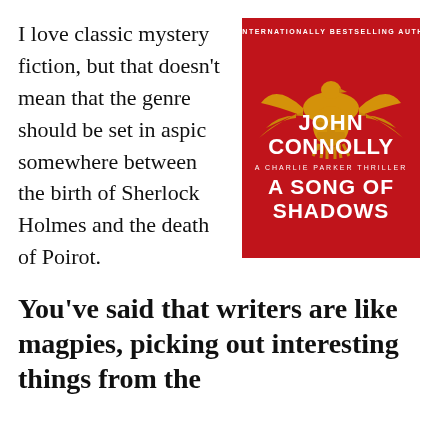I love classic mystery fiction, but that doesn't mean that the genre should be set in aspic somewhere between the birth of Sherlock Holmes and the death of Poirot.
[Figure (photo): Book cover of 'A Song of Shadows' by John Connolly, a Charlie Parker Thriller. Red background with a gold eagle and swastika imagery. Text reads '#1 Internationally Bestselling Author', 'John Connolly', 'A Charlie Parker Thriller', 'A Song of Shadows'.]
You've said that writers are like magpies, picking out interesting things from the